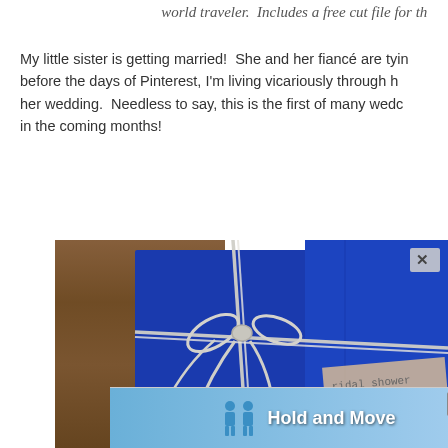world traveler.  Includes a free cut file for th
My little sister is getting married!  She and her fiancé are tying the knot before the days of Pinterest, I'm living vicariously through her planning for her wedding.  Needless to say, this is the first of many wedding projects in the coming months!
[Figure (photo): Photo of a blue envelope or invitation folder tied with white/silver twine in a bow, placed on a wooden surface. A partial 'bridal shower' stamp or label is visible in the lower right corner. An advertisement overlay 'Hold and Move' with two blue figures icons appears at the bottom of the image, with close (X) and help (?) buttons.]